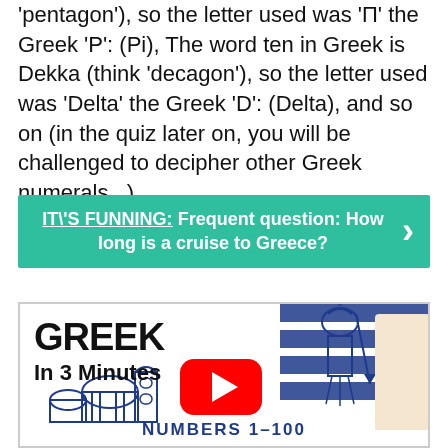'pentagon'), so the letter used was 'П' the Greek 'P': (Pi), The word ten in Greek is Dekka (think 'decagon'), so the letter used was 'Delta' the Greek 'D': (Delta), and so on (in the quiz later on, you will be challenged to decipher other Greek numerals...).
IT\'S FUNNING: Frequent question: How long is a cruise to Greece?
[Figure (screenshot): YouTube video thumbnail for 'Greek In 3 Minutes' showing numbers 1-100, with a blonde woman, Greek architecture illustration, YouTube play button, and blue stripe design elements.]